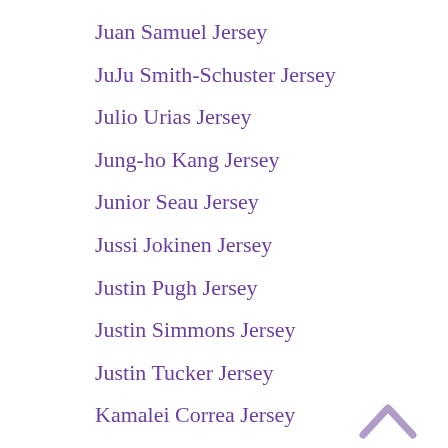Juan Samuel Jersey
JuJu Smith-Schuster Jersey
Julio Urias Jersey
Jung-ho Kang Jersey
Junior Seau Jersey
Jussi Jokinen Jersey
Justin Pugh Jersey
Justin Simmons Jersey
Justin Tucker Jersey
Kamalei Correa Jersey
Karl Joseph Jersey
Keith Hernandez Jersey
Kellen Winslow Jersey